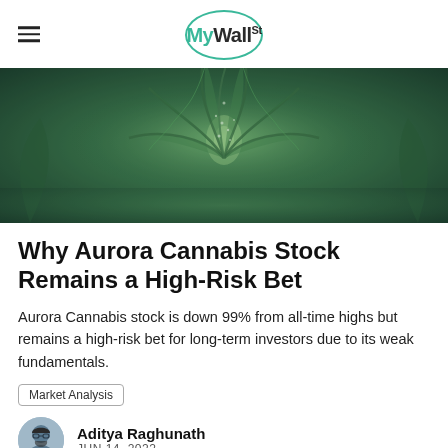MyWallSt
[Figure (photo): Close-up photo of a cannabis plant with green leaves and white trichomes against a dark background]
Why Aurora Cannabis Stock Remains a High-Risk Bet
Aurora Cannabis stock is down 99% from all-time highs but remains a high-risk bet for long-term investors due to its weak fundamentals.
Market Analysis
Aditya Raghunath
JUN 14, 2022